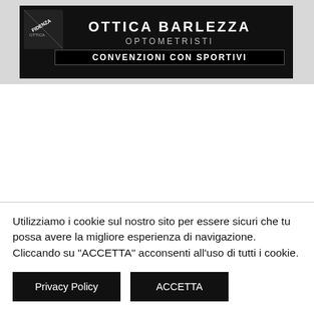[Figure (logo): Ottica Barleza Fidenza optometristi banner with FIDENZA badge, OPTOMETRISTI subtitle and CONVENZIONI CON SPORTIVI black bar]
[Figure (logo): Poliambulatorio logo with chess piece icon on left and circular red/orange badge on right]
Utilizziamo i cookie sul nostro sito per essere sicuri che tu possa avere la migliore esperienza di navigazione. Cliccando su "ACCETTA" acconsenti all'uso di tutti i cookie.
Privacy Policy
ACCETTA